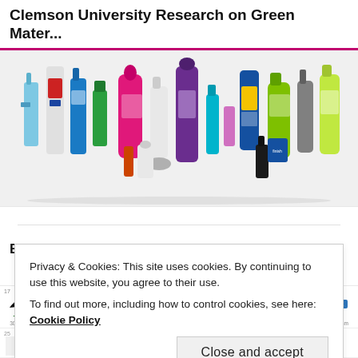Clemson University Research on Green Mater...
[Figure (photo): A collection of various household cleaning and personal care product bottles arranged together, including Febreze, Fairy, Finish, and other colorful branded products.]
BIOPLASTICS BRANDS
Privacy & Cookies: This site uses cookies. By continuing to use this website, you agree to their use.
To find out more, including how to control cookies, see here: Cookie Policy
Close and accept
[Figure (screenshot): Bottom strip showing brand logos with rankings and percentage changes: #17 Nike +11% 30,120 $m, #18 Louis Vuitton +23% 28,152 $m, #19 Oracle -5% 26,133 $m, #20 Honda +4% 22,002 $m, #21 SAP +1% 22,002 $m, #22 Pepsi +3% 20,758 $m, #23 Chanel NEW 20,005 $m, #24 American Express +8% 18,120 $m]